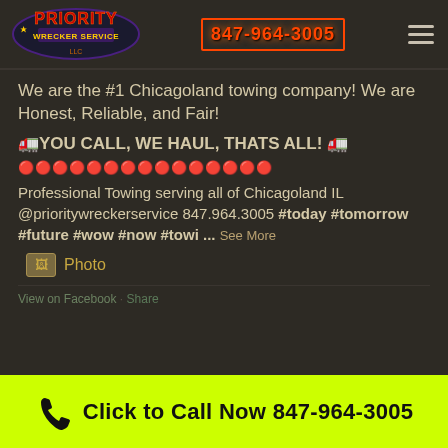Priority Wrecker Service — 847-964-3005
We are the #1 Chicagoland towing company! We are Honest, Reliable, and Fair!
🚛YOU CALL, WE HAUL, THATS ALL! 🚛
🔴🔴🔴🔴🔴🔴🔴🔴🔴🔴🔴🔴🔴🔴🔴
Professional Towing serving all of Chicagoland IL @prioritywreckerservice 847.964.3005 #today #tomorrow #future #wow #now #towi ... See More
Photo
View on Facebook · Share
Click to Call Now 847-964-3005